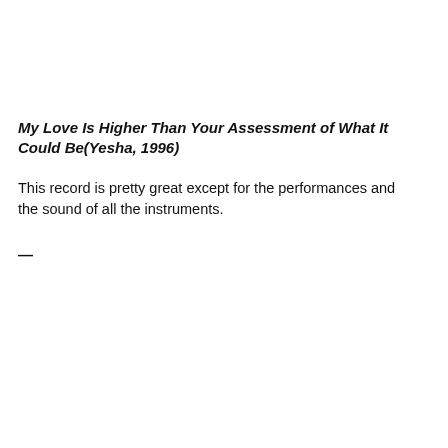My Love Is Higher Than Your Assessment of What It Could Be (Yesha, 1996)
This record is pretty great except for the performances and the sound of all the instruments.
—